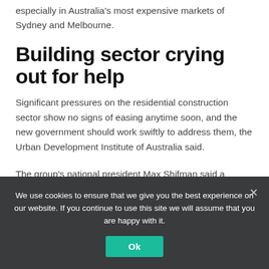especially in Australia's most expensive markets of Sydney and Melbourne.
Building sector crying out for help
Significant pressures on the residential construction sector show no signs of easing anytime soon, and the new government should work swiftly to address them, the Urban Development Institute of Australia said.
The group's national president Max Shifman said a shortage of land, labor and materials have pushed up costs and caused significant delays when it comes to
We use cookies to ensure that we give you the best experience on our website. If you continue to use this site we will assume that you are happy with it.
Ok